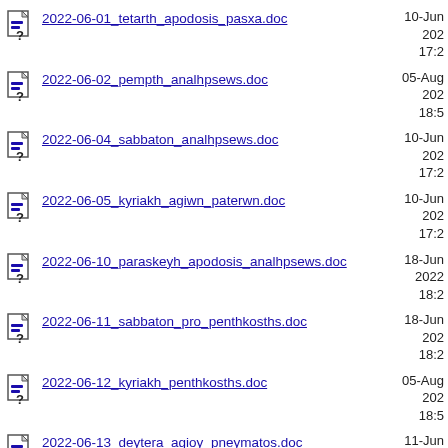2022-06-01_tetarth_apodosis_pasxa.doc
2022-06-02_pempth_analhpsews.doc
2022-06-04_sabbaton_analhpsews.doc
2022-06-05_kyriakh_agiwn_paterwn.doc
2022-06-10_paraskeyh_apodosis_analhpsews.doc
2022-06-11_sabbaton_pro_penthkosths.doc
2022-06-12_kyriakh_penthkosths.doc
2022-06-13_deytera_agioy_pneymatos.doc